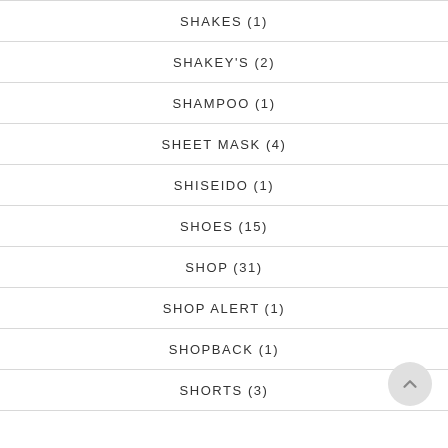SHAKES (1)
SHAKEY'S (2)
SHAMPOO (1)
SHEET MASK (4)
SHISEIDO (1)
SHOES (15)
SHOP (31)
SHOP ALERT (1)
SHOPBACK (1)
SHORTS (3)